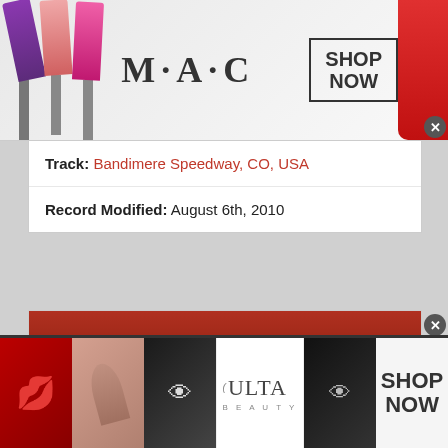[Figure (photo): MAC cosmetics advertisement banner at top with lipsticks, MAC logo, SHOP NOW box, and red lipstick on right side.]
Track: Bandimere Speedway, CO, USA
Record Modified: August 6th, 2010
ADDITIONAL INFORMATION
[Figure (photo): ULTA Beauty advertisement banner at bottom with makeup photos, ULTA logo, and SHOP NOW text.]